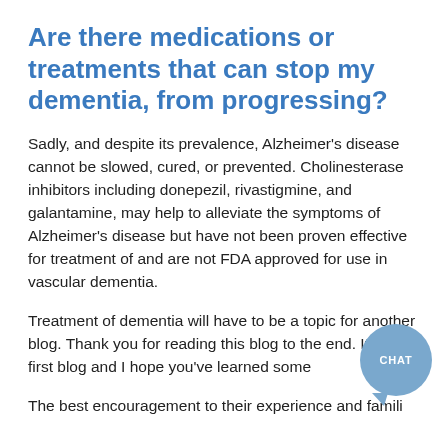Are there medications or treatments that can stop my dementia, from progressing?
Sadly, and despite its prevalence, Alzheimer's disease cannot be slowed, cured, or prevented. Cholinesterase inhibitors including donepezil, rivastigmine, and galantamine, may help to alleviate the symptoms of Alzheimer's disease but have not been proven effective for treatment of and are not FDA approved for use in vascular dementia.
Treatment of dementia will have to be a topic for another blog. Thank you for reading this blog to the end. It's my first blog and I hope you've learned some new.
The best encouragement to their experience and famili...